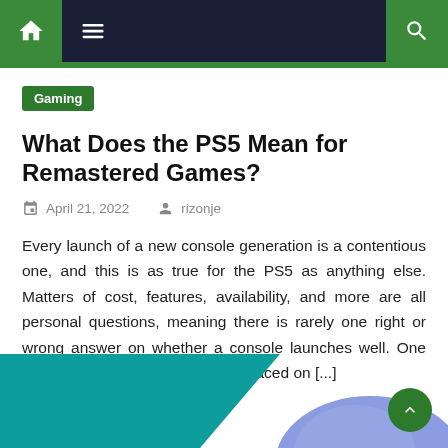Navigation bar with home, menu, and search icons
Gaming
What Does the PS5 Mean for Remastered Games?
April 21, 2022  rizonje
Every launch of a new console generation is a contentious one, and this is as true for the PS5 as anything else. Matters of cost, features, availability, and more are all personal questions, meaning there is rarely one right or wrong answer on whether a console launches well. One area where praise is universally placed on [...]
[Figure (illustration): Partial illustration showing teal/green geometric shape on left and a purple/blue rounded shape on right, representing PS5/gaming themed art]